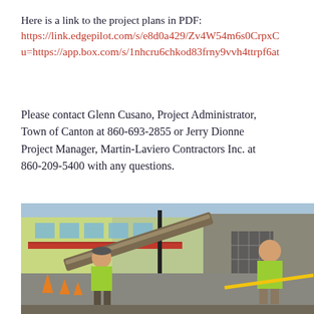Here is a link to the project plans in PDF:
https://link.edgepilot.com/s/e8d0a429/Zv4W54m6s0CrpxC... u=https://app.box.com/s/1nhcru6chkod83frny9vvh4ttrpf6at...
Please contact Glenn Cusano, Project Administrator, Town of Canton at 860-693-2855 or Jerry Dionne Project Manager, Martin-Laviero Contractors Inc. at 860-209-5400 with any questions.
[Figure (photo): Two construction workers in neon yellow/green shirts working on a street construction site. One worker on the left is standing near heavy equipment (a large metal beam or pipe), and another worker on the right is handling a yellow tool or bar. Orange traffic cones are visible in the background, along with a red-awninged storefront and a stone building facade.]